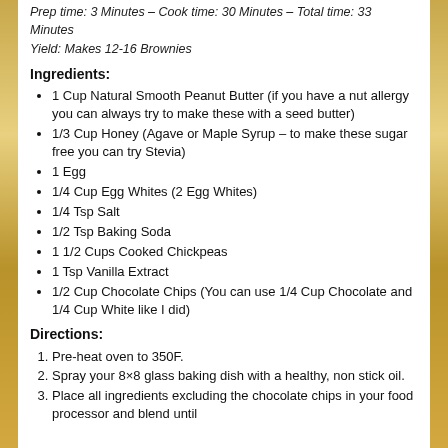Prep time: 3 Minutes – Cook time: 30 Minutes – Total time: 33 Minutes
Yield: Makes 12-16 Brownies
Ingredients:
1 Cup Natural Smooth Peanut Butter (if you have a nut allergy you can always try to make these with a seed butter)
1/3 Cup Honey (Agave or Maple Syrup – to make these sugar free you can try Stevia)
1 Egg
1/4 Cup Egg Whites (2 Egg Whites)
1/4 Tsp Salt
1/2 Tsp Baking Soda
1 1/2 Cups Cooked Chickpeas
1 Tsp Vanilla Extract
1/2 Cup Chocolate Chips (You can use 1/4 Cup Chocolate and 1/4 Cup White like I did)
Directions:
Pre-heat oven to 350F.
Spray your 8×8 glass baking dish with a healthy, non stick oil.
Place all ingredients excluding the chocolate chips in your food processor and blend until